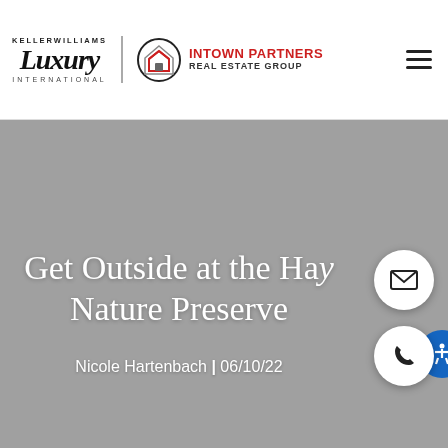[Figure (logo): Keller Williams Luxury International logo and Intown Partners Real Estate Group logo side by side in white header bar with hamburger menu icon]
[Figure (photo): Gray hero banner image area with overlaid title text and contact buttons]
Get Outside at the Hav Nature Preserve
Nicole Hartenbach | 06/10/22